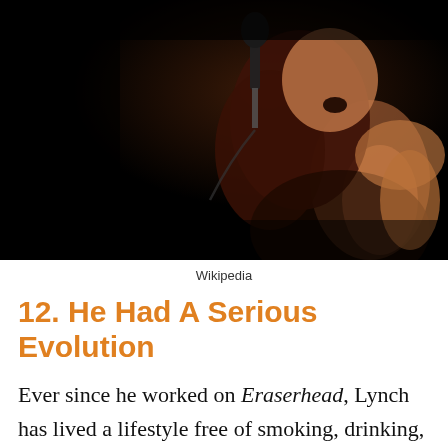[Figure (photo): A performer singing into a microphone on a dark stage, dark hair, wearing dark clothing, dramatic stage lighting against black background.]
Wikipedia
12. He Had A Serious Evolution
Ever since he worked on Eraserhead, Lynch has lived a lifestyle free of smoking, drinking, and maintains a vegetarian diet. To be fair,